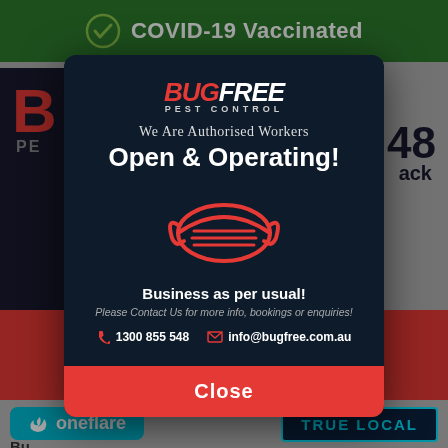[Figure (screenshot): Screenshot of BugFree Pest Control website with COVID-19 Vaccinated banner at top and a modal popup showing the business is open and operating.]
COVID-19 Vaccinated
[Figure (infographic): BugFree Pest Control modal popup with logo, 'We Are Authorised Workers', 'Open & Operating!', a red face mask icon, 'Business as per usual!', contact details: 1300 855 548 and info@bugfree.com.au, and a Close button.]
We Are Authorised Workers
Open & Operating!
Business as per usual!
Please Contact Us for more info, bookings or enquiries!
1300 855 548
info@bugfree.com.au
Close